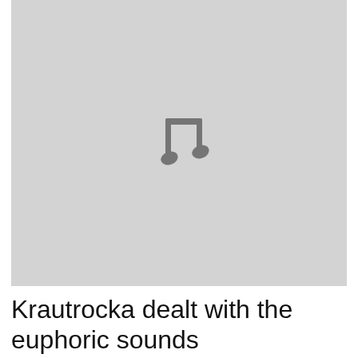[Figure (illustration): Gray placeholder image with a music note icon centered in the middle]
Krautrocka dealt with the euphoric sounds